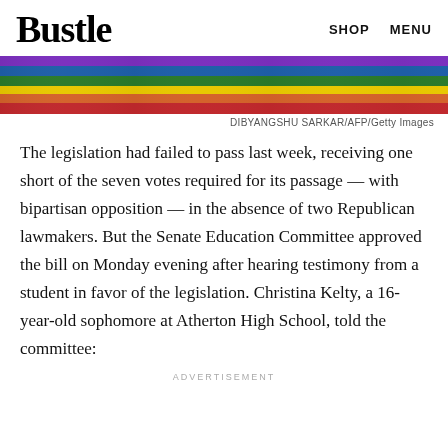Bustle  SHOP  MENU
[Figure (photo): Rainbow Pride flag fabric in purple, blue, green, yellow, orange, and red colors]
DIBYANGSHU SARKAR/AFP/Getty Images
The legislation had failed to pass last week, receiving one short of the seven votes required for its passage — with bipartisan opposition — in the absence of two Republican lawmakers. But the Senate Education Committee approved the bill on Monday evening after hearing testimony from a student in favor of the legislation. Christina Kelty, a 16-year-old sophomore at Atherton High School, told the committee:
ADVERTISEMENT